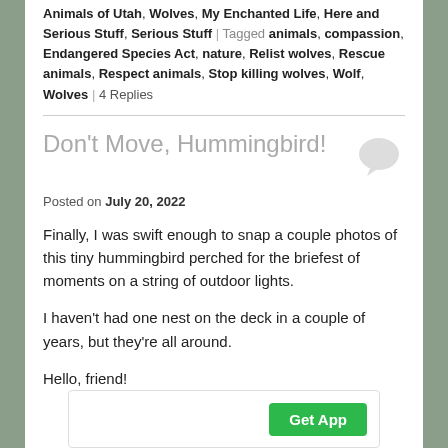Animals of Utah, Wolves, My Enchanted Life, Here and Serious Stuff, Serious Stuff | Tagged animals, compassion, Endangered Species Act, nature, Relist wolves, Rescue animals, Respect animals, Stop killing wolves, Wolf, Wolves | 4 Replies
Don't Move, Hummingbird!
Posted on July 20, 2022
Finally, I was swift enough to snap a couple photos of this tiny hummingbird perched for the briefest of moments on a string of outdoor lights.
I haven't had one nest on the deck in a couple of years, but they're all around.
Hello, friend!